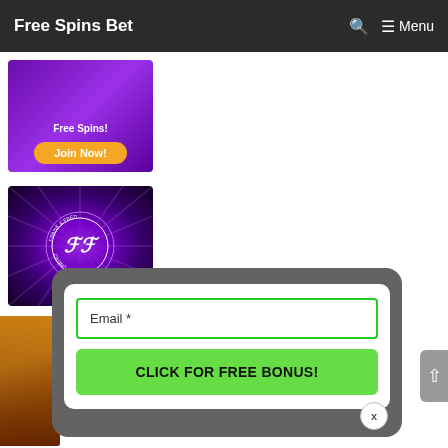Free Spins Bet | Menu
[Figure (infographic): Purple casino advertisement banner showing Free Spins text and Join Now button]
[Figure (logo): Frank & Fred Casino logo on purple radiant background with stylized FF monogram in circle]
[Figure (screenshot): Popup modal with email input field labeled Email * and green CLICK FOR FREE BONUS! button, on grey rounded rectangle background]
[Figure (photo): Partially visible slot machine game image on left edge]